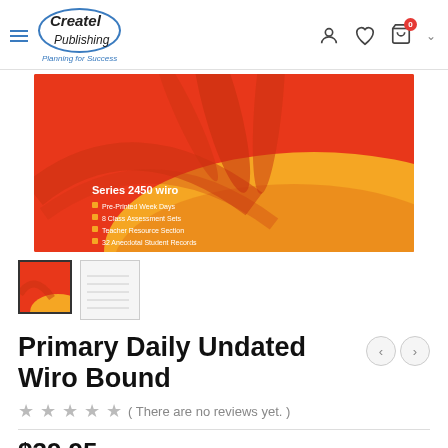Createl Publishing – Planning for Success
[Figure (photo): Product cover image for Primary Daily Undated Wiro Bound (Series 2450 wiro) – red and orange abstract design with bullet points listing features: Pre-Printed Week Days, 8 Class Assessment Sets, Teacher Resource Section, 32 Anecdotal Student Records]
[Figure (photo): Thumbnail 1: product cover (red/orange)]
[Figure (photo): Thumbnail 2: product interior page preview (grey/white lines)]
Primary Daily Undated Wiro Bound
( There are no reviews yet. )
$39.95